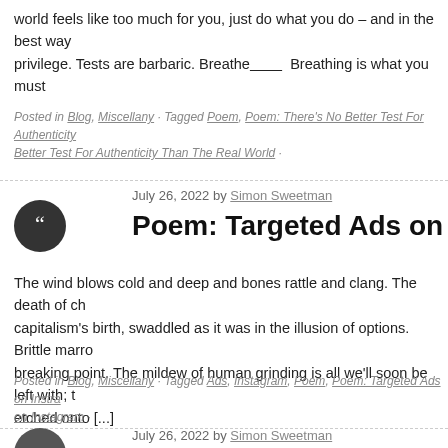world feels like too much for you, just do what you do – and in the best way privilege. Tests are barbaric. Breathe________ Breathing is what you must
Posted in Blog, Miscellany · Tagged Poem, Poem: There's No Better Test For Authenticity Better Test For Authenticity Than The Real World ·
July 26, 2022 by Simon Sweetman
Poem: Targeted Ads on Instagram
The wind blows cold and deep and bones rattle and clang. The death of ch capitalism's birth, swaddled as it was in the illusion of options. Brittle marro breaking point. The mildew of human grinding is all we'll soon be left with; t etched onto [...]
Posted in Blog, Miscellany · Tagged Ads, Instagram, Poem, Poem: Targeted Ads on Instra on Instagram ·
July 26, 2022 by Simon Sweetman